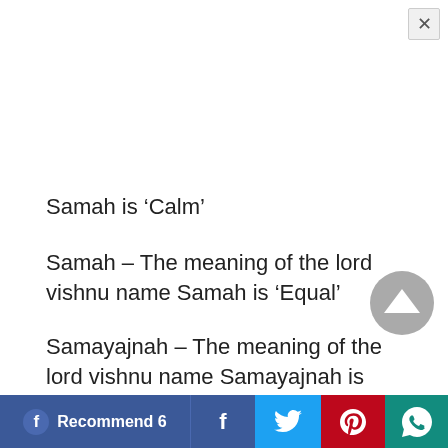Samah is ‘Calm’
Samah – The meaning of the lord vishnu name Samah is ‘Equal’
Samayajnah – The meaning of the lord vishnu name Samayajnah is ‘One whose worship is nothing more than keeping an equal vision of the mind by the devotee’
Sambhavah – The meaning of the lord vishnu name Sambhavah is ‘He who descends of His own free will’
Sameehanah – The meaning of the lord vishnu
Recommend 6  f  t  p  (whatsapp)